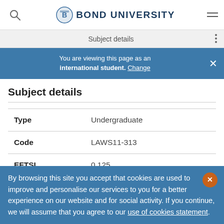[Figure (logo): Bond University logo with crest and text]
Subject details
You are viewing this page as an international student. Change
Subject details
|  |  |
| --- | --- |
| Type | Undergraduate |
| Code | LAWS11-313 |
| EFTSL | 0.125 |
By browsing this site you accept that cookies are used to improve and personalise our services to you for a better experience on our website and for social activity. If you continue, we will assume that you agree to our use of cookies statement.